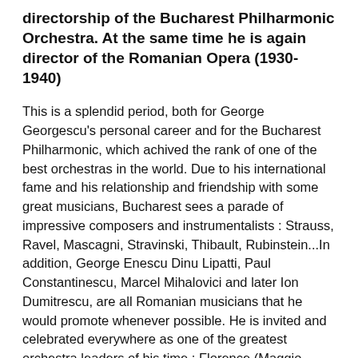directorship of the Bucharest Philharmonic Orchestra. At the same time he is again director of the Romanian Opera (1930-1940)
This is a splendid period, both for George Georgescu's personal career and for the Bucharest Philharmonic, which achived the rank of one of the best orchestras in the world. Due to his international fame and his relationship and friendship with some great musicians, Bucharest sees a parade of impressive composers and instrumentalists : Strauss, Ravel, Mascagni, Stravinski, Thibault, Rubinstein...In addition, George Enescu Dinu Lipatti, Paul Constantinescu, Marcel Mihalovici and later Ion Dumitrescu, are all Romanian musicians that he would promote whenever possible. He is invited and celebrated everywhere as one of the greatest orchestra leaders of his time : Florence (Maggio Musicale), Viena, Berlin, Barcelona where he receives an « Honorary Diploma » as the « greatest conductor ». In Bucharest he conducts a grand ensemble,composed of one thousand